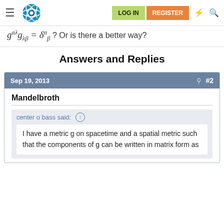Physics Forums navigation header with LOG IN and REGISTER buttons
Answers and Replies
Sep 19, 2013  #2
Mandelbroth
center o bass said:
I have a metric g on spacetime and a spatial metric such that the components of g can be written in matrix form as